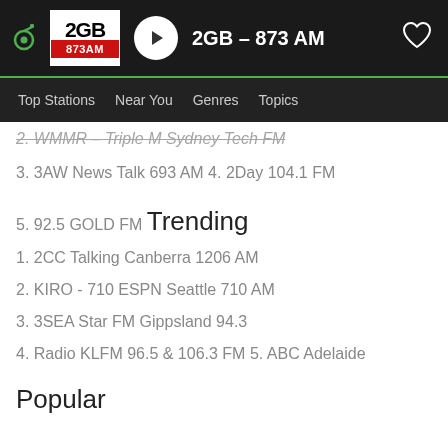2GB - 873 AM
Top Stations | Near You | Genres | Topics
2. WMMR - Triple M Sydney Tech FM
3. 3AW News Talk 693 AM
4. 2Day 104.1 FM
5. 92.5 GOLD FM
Trending
1. 2CC Talking Canberra 1206 AM
2. KIRO - 710 ESPN Seattle 710 AM
3. 3SEA Star FM Gippsland 94.3
4. Radio KLFM 96.5 & 106.3 FM
5. ABC Adelaide
Popular